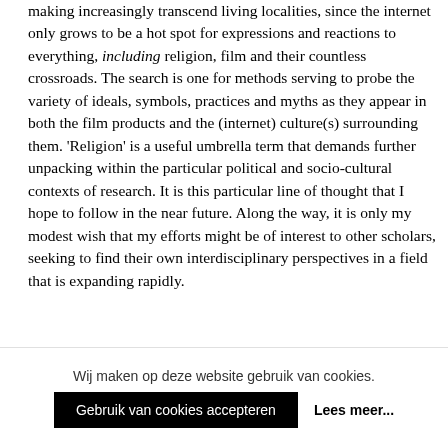making increasingly transcend living localities, since the internet only grows to be a hot spot for expressions and reactions to everything, including religion, film and their countless crossroads. The search is one for methods serving to probe the variety of ideals, symbols, practices and myths as they appear in both the film products and the (internet) culture(s) surrounding them. 'Religion' is a useful umbrella term that demands further unpacking within the particular political and socio-cultural contexts of research. It is this particular line of thought that I hope to follow in the near future. Along the way, it is only my modest wish that my efforts might be of interest to other scholars, seeking to find their own interdisciplinary perspectives in a field that is expanding rapidly.
Bibliography
Wij maken op deze website gebruik van cookies.
Gebruik van cookies accepteren   Lees meer...